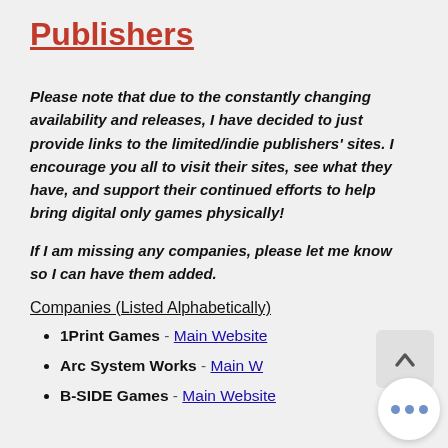Publishers
Please note that due to the constantly changing availability and releases, I have decided to just provide links to the limited/indie publishers' sites. I encourage you all to visit their sites, see what they have, and support their continued efforts to help bring digital only games physically!
If I am missing any companies, please let me know so I can have them added.
Companies (Listed Alphabetically)
1Print Games - Main Website
Arc System Works - Main W...
B-SIDE Games - Main Website